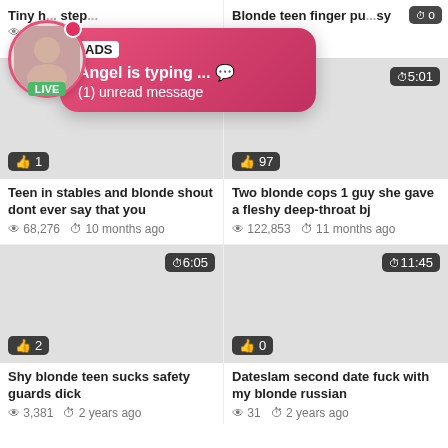[Figure (screenshot): Adult video thumbnail grid with ad overlay popup showing 'Angel is typing... (1) unread message']
Tiny h... step...  67... | Blonde teen finger p...sy  ...s  ...o
ADS
Angel is typing ... 💬
(1) unread message
5:01
👍 1
👍 97
Teen in stables and blonde shout dont ever say that you
68,276   10 months ago
Two blonde cops 1 guy she gave a fleshy deep-throat bj
122,853   11 months ago
6:05
11:45
👍 2
👍 0
Shy blonde teen sucks safety guards dick
3,381   2 years ago
Dateslam second date fuck with my blonde russian
31   2 years ago